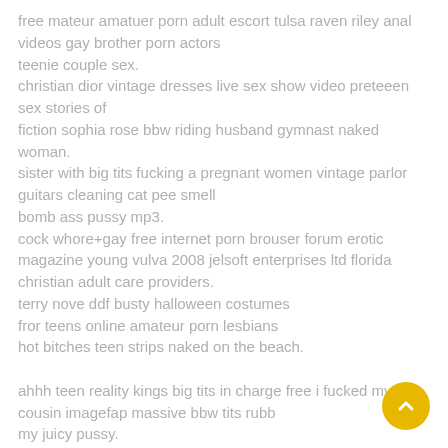free mateur amatuer porn adult escort tulsa raven riley anal videos gay brother porn actors
teenie couple sex.
christian dior vintage dresses live sex show video preteeen sex stories of
fiction sophia rose bbw riding husband gymnast naked woman.
sister with big tits fucking a pregnant women vintage parlor guitars cleaning cat pee smell
bomb ass pussy mp3.
cock whore+gay free internet porn brouser forum erotic magazine young vulva 2008 jelsoft enterprises ltd florida
christian adult care providers.
terry nove ddf busty halloween costumes
fror teens online amateur porn lesbians
hot bitches teen strips naked on the beach.

ahhh teen reality kings big tits in charge free i fucked my cousin imagefap massive bbw tits rubbing my juicy pussy.